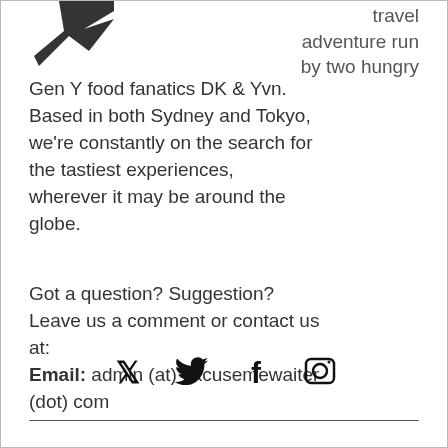[Figure (logo): Partial logo image (bird/arrow shape) in top-left corner]
travel adventure run by two hungry Gen Y food fanatics DK & Yvn. Based in both Sydney and Tokyo, we're constantly on the search for the tastiest experiences, wherever it may be around the globe.
Got a question? Suggestion? Leave us a comment or contact us at:
Email: admin (at) excusemewaiter (dot) com
[Figure (illustration): Social media icons: Twitter bird, Facebook f, Instagram camera]